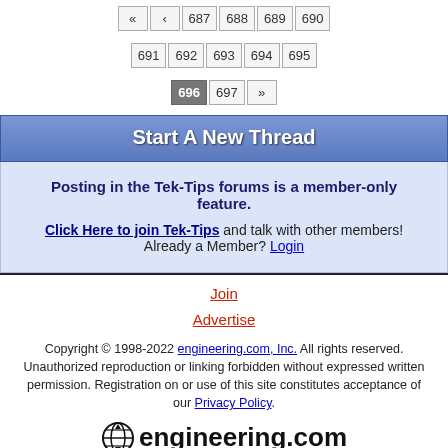Pagination: « ‹ 687 688 689 690 691 692 693 694 695 696 697 »
Start A New Thread
Posting in the Tek-Tips forums is a member-only feature. Click Here to join Tek-Tips and talk with other members! Already a Member? Login
Join
Advertise
Copyright © 1998-2022 engineering.com, Inc. All rights reserved. Unauthorized reproduction or linking forbidden without expressed written permission. Registration on or use of this site constitutes acceptance of our Privacy Policy.
[Figure (logo): engineering.com logo with globe icon]